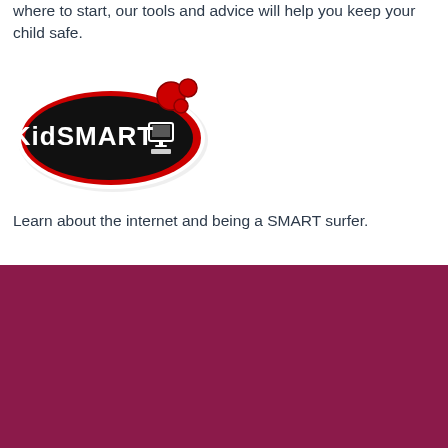where to start, our tools and advice will help you keep your child safe.
[Figure (logo): KidSMART logo: black oval with red border containing white text 'KidSMART' and a computer icon, with decorative red circles at top-right]
Learn about the internet and being a SMART surfer.
This website uses cookies to ensure you get the best experience on our website.
Learn more
Accept